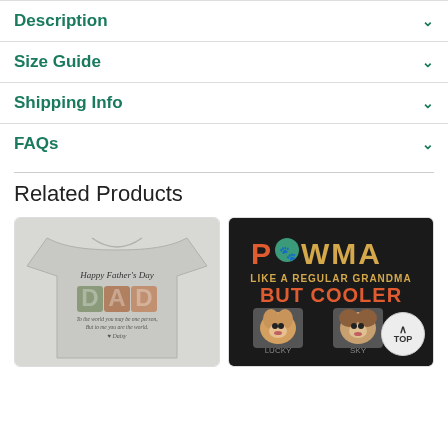Description
Size Guide
Shipping Info
FAQs
Related Products
[Figure (photo): Gray t-shirt with Happy Father's Day DAD design featuring photos]
[Figure (photo): Black t-shirt with PAWMA Like A Regular Grandma But Cooler design with two dogs named Lucky and Sky]